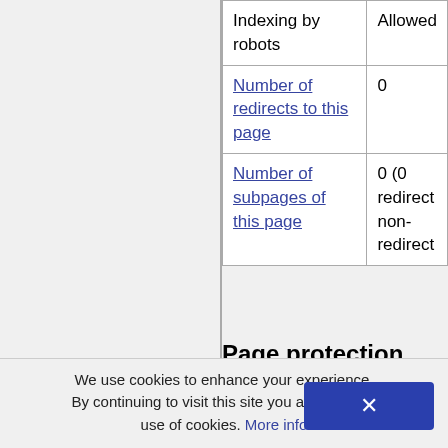|  |  |
| --- | --- |
| Indexing by robots | Allowed |
| Number of redirects to this page | 0 |
| Number of subpages of this page | 0 (0 redirect non-redirect |
Page protection
| Edit | Allow all users |
| --- | --- |
We use cookies to enhance your experience. By continuing to visit this site you agree to our use of cookies. More info